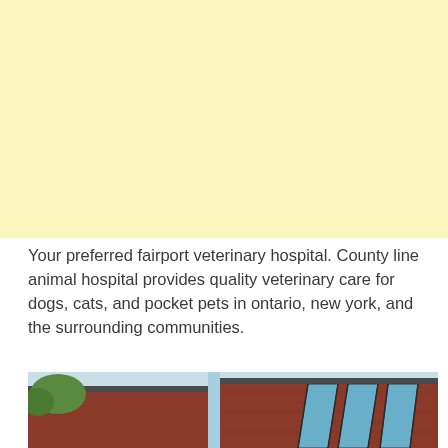[Figure (other): Solid light yellow background block filling the top portion of the page]
Your preferred fairport veterinary hospital. County line animal hospital provides quality veterinary care for dogs, cats, and pocket pets in ontario, new york, and the surrounding communities.
[Figure (photo): Exterior photo of a brick building with a modern flat roof and large skylights/glass panels, blue sky in background with some trees visible on the left]